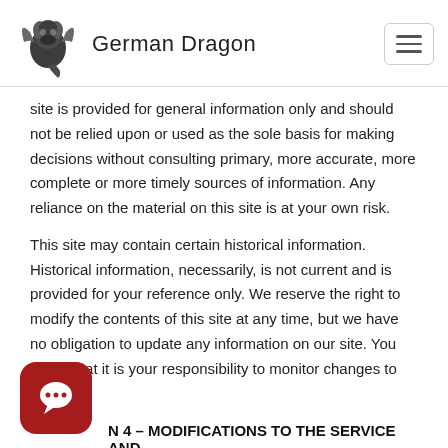German Dragon
site is provided for general information only and should not be relied upon or used as the sole basis for making decisions without consulting primary, more accurate, more complete or more timely sources of information. Any reliance on the material on this site is at your own risk.
This site may contain certain historical information. Historical information, necessarily, is not current and is provided for your reference only. We reserve the right to modify the contents of this site at any time, but we have no obligation to update any information on our site. You agree that it is your responsibility to monitor changes to our site.
N 4 – MODIFICATIONS TO THE SERVICE AND